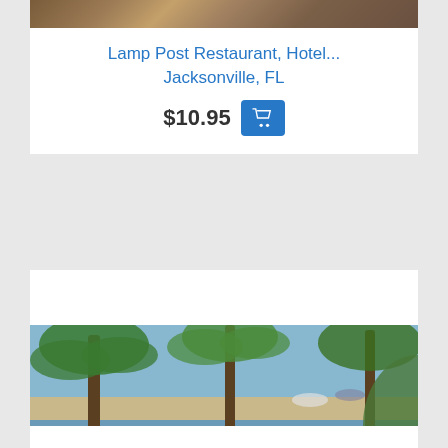[Figure (photo): Cropped top portion of a vintage photo, partially visible at top of page — Lamp Post Restaurant, Hotel, Jacksonville FL product listing]
Lamp Post Restaurant, Hotel...
Jacksonville, FL
$10.95
[Figure (photo): Vintage postcard photo of Pool Scene at The Golden Gate Hotel, Miami Beach, FL — showing large outdoor pool surrounded by palm trees and beach umbrellas with ocean in background]
Pool Scene, The Golden Gate...
Miami Beach, FL
$4.95